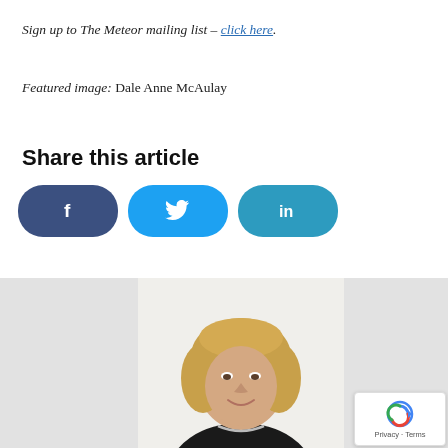Sign up to The Meteor mailing list – click here.
Featured image: Dale Anne McAulay
Share this article
[Figure (infographic): Three social sharing buttons: Facebook (f), Twitter (bird icon), LinkedIn (in)]
[Figure (photo): Portrait photo of a woman with blonde hair, smiling, wearing a black top and silver necklace, against a light background. Partially cropped. reCAPTCHA badge visible in bottom right.]